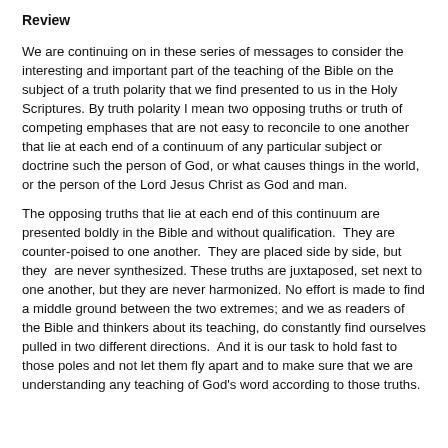Review
We are continuing on in these series of messages to consider the interesting and important part of the teaching of the Bible on the subject of a truth polarity that we find presented to us in the Holy Scriptures. By truth polarity I mean two opposing truths or truth of competing emphases that are not easy to reconcile to one another that lie at each end of a continuum of any particular subject or doctrine such the person of God, or what causes things in the world, or the person of the Lord Jesus Christ as God and man.
The opposing truths that lie at each end of this continuum are presented boldly in the Bible and without qualification.  They are counter-poised to one another.  They are placed side by side, but they  are never synthesized. These truths are juxtaposed, set next to one another, but they are never harmonized. No effort is made to find a middle ground between the two extremes; and we as readers of the Bible and thinkers about its teaching, do constantly find ourselves pulled in two different directions.  And it is our task to hold fast to those poles and not let them fly apart and to make sure that we are understanding any teaching of God's word according to those truths.